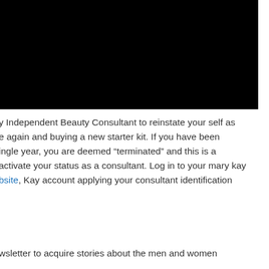[Figure (photo): Black rectangle representing a cropped/obscured image at the top of the page]
y Independent Beauty Consultant to reinstate your self as e again and buying a new starter kit. If you have been ingle year, you are deemed “terminated” and this is a activate your status as a consultant. Log in to your mary kay bsite, Kay account applying your consultant identification
wsletter to acquire stories about the men and women